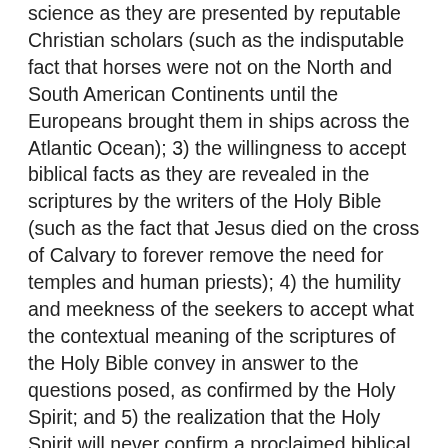science as they are presented by reputable Christian scholars (such as the indisputable fact that horses were not on the North and South American Continents until the Europeans brought them in ships across the Atlantic Ocean); 3) the willingness to accept biblical facts as they are revealed in the scriptures by the writers of the Holy Bible (such as the fact that Jesus died on the cross of Calvary to forever remove the need for temples and human priests); 4) the humility and meekness of the seekers to accept what the contextual meaning of the scriptures of the Holy Bible convey in answer to the questions posed, as confirmed by the Holy Spirit; and 5) the realization that the Holy Spirit will never confirm a proclaimed biblical, historical, or archaeological fact to be true that is, according to common sense and valid science, utterly false. Such an example of this would be a person who believes that the Holy Spirit is telling him that an extra-bibilical 19th Century book, detailing a civilization in Central America during the 1st Century A.D. that has no archaeological or any other ability to result